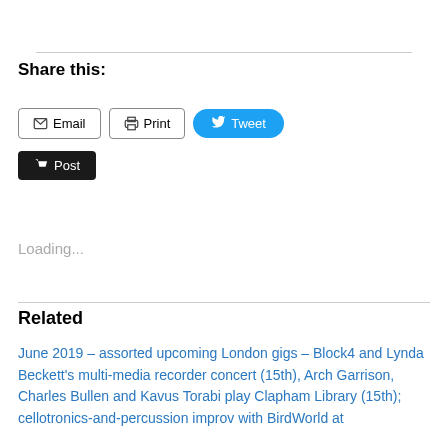Share this:
Email  Print  Tweet  Post
Loading...
Related
June 2019 – assorted upcoming London gigs – Block4 and Lynda Beckett's multi-media recorder concert (15th), Arch Garrison, Charles Bullen and Kavus Torabi play Clapham Library (15th); cellotronics-and-percussion improv with BirdWorld at